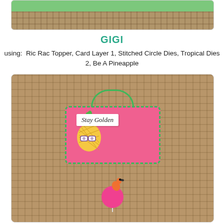[Figure (photo): Partial view of a craft card at the top of the page, showing green and brown/wicker background elements]
GIGI
using:  Ric Rac Topper, Card Layer 1, Stitched Circle Dies, Tropical Dies 2, Be A Pineapple
[Figure (photo): Craft card project featuring a pink circular background with a cartoon pineapple wearing glasses, green handle, floral patterned paper, a 'Stay Golden' banner flag, and a flamingo lollipop, set against a wicker/rattan texture background]